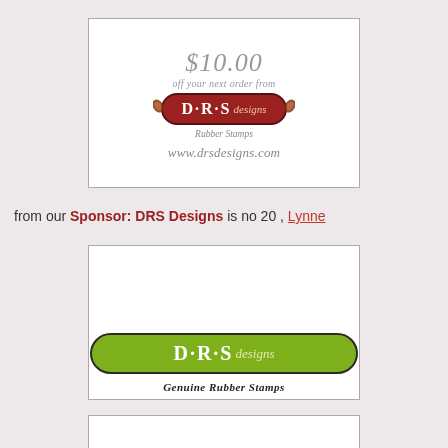[Figure (logo): DRS Designs Rubber Stamps advertisement coupon: $10.00 off your next order, red pill-shaped logo with D·R·S designs text, Rubber Stamps, www.drsdesigns.com]
from our Sponsor: DRS Designs is no 20 , Lynne
[Figure (logo): DRS Designs Genuine Rubber Stamps logo: blue butterfly above green pill-shaped logo with D·R·S designs text, Genuine Rubber Stamps below]
[Figure (other): Partial third advertisement box, content cut off]